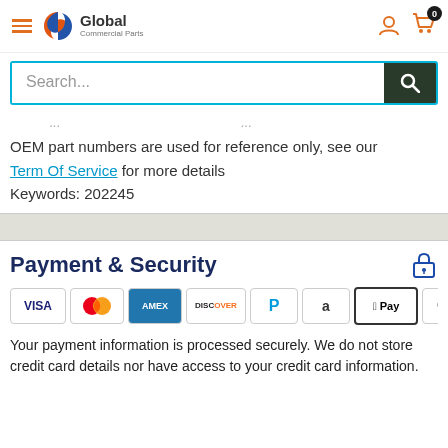[Figure (logo): Global Commercial Parts logo with swirl icon, hamburger menu, user icon, and cart icon with badge 0]
[Figure (screenshot): Search bar with cyan/teal border and dark search button with magnifying glass icon]
OEM part numbers are used for reference only, see our Term Of Service for more details
Keywords: 202245
Payment & Security
[Figure (infographic): Payment method icons: VISA, Mastercard, AMEX, Discover, PayPal, Amazon, Apple Pay, Google Pay]
Your payment information is processed securely. We do not store credit card details nor have access to your credit card information.